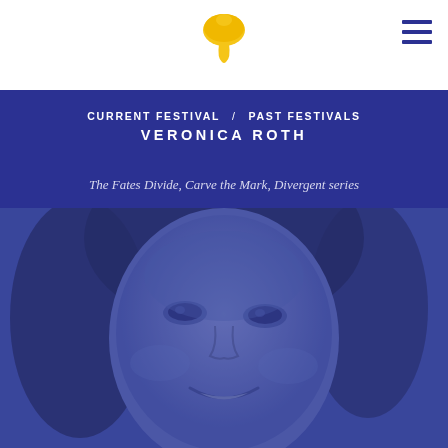[Figure (logo): Yellow mushroom/umbrella logo icon centered in the page header]
[Figure (other): Hamburger menu icon (three horizontal lines) in top right corner]
CURRENT FESTIVAL / PAST FESTIVALS
VERONICA ROTH
The Fates Divide, Carve the Mark, Divergent series
[Figure (photo): Large portrait photo of Veronica Roth with a blue/purple color overlay, showing her smiling face from forehead to chin, close-cropped]